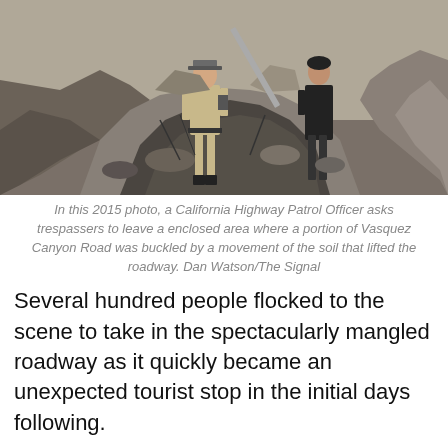[Figure (photo): Two people walking through a badly damaged road with buckled asphalt and rocky debris on either side. One person appears to be a California Highway Patrol Officer in uniform.]
In this 2015 photo, a California Highway Patrol Officer asks trespassers to leave a enclosed area where a portion of Vasquez Canyon Road was buckled by a movement of the soil that lifted the roadway. Dan Watson/The Signal
Several hundred people flocked to the scene to take in the spectacularly mangled roadway as it quickly became an unexpected tourist stop in the initial days following.
The roadway reopened on Nov. 23, 2016 after several months of litigation cleared a path to